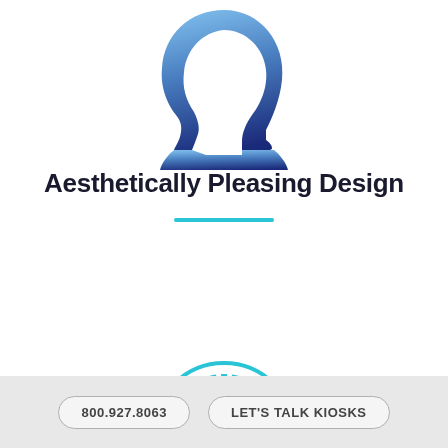[Figure (illustration): A blue gradient silhouette of a human head profile facing right, with gradient from light blue at top to dark navy blue at bottom.]
Aesthetically Pleasing Design
[Figure (illustration): Top portion of a circular arc in light blue/cyan color with dashed inner line, partially visible at bottom of main content area.]
800.927.8063   LET'S TALK KIOSKS